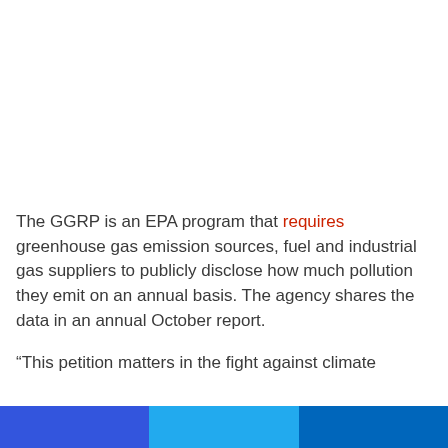The GGRP is an EPA program that requires greenhouse gas emission sources, fuel and industrial gas suppliers to publicly disclose how much pollution they emit on an annual basis. The agency shares the data in an annual October report.
“This petition matters in the fight against climate